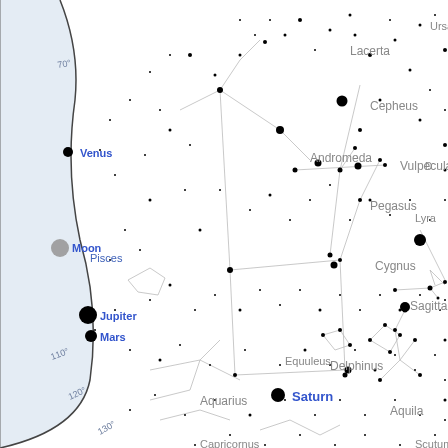[Figure (map): Star chart / sky map showing constellations and planets visible in the night sky. Constellations shown include Andromeda, Pegasus, Cygnus, Lyra, Vulpecula, Sagitta, Delphinus, Equuleus, Aquila, Aquarius, Lacerta, Cepheus, Scutum, and Capricornus. Planets labeled include Venus, Moon, Jupiter, Mars, and Saturn (in blue). Constellation lines are drawn in light gray connecting stars. Azimuth degree markers (70°, 110°, 120°, 130°) appear along the left curved horizon line. The horizon area is shaded light blue. The background is white with scattered black dots representing stars of varying sizes.]